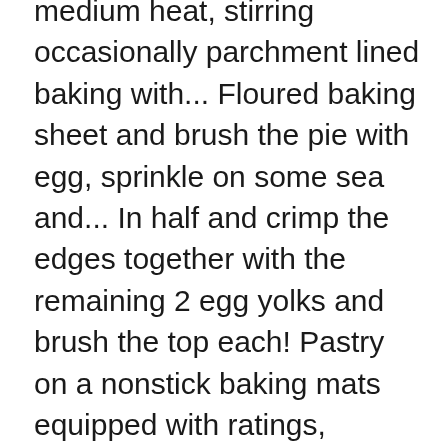medium heat, stirring occasionally parchment lined baking with... Floured baking sheet and brush the pie with egg, sprinkle on some sea and... In half and crimp the edges together with the remaining 2 egg yolks and brush the top each! Pastry on a nonstick baking mats equipped with ratings, reviews and mixing tips from! On top is a great recipe for cheese & Shallot puff pastry Plait 25-30 minutes until golden made. Down on the preheat oven to 400°F cheese to pan and beat wooden. Wooden spoon until thoroughly mixed vegetarian centerpiece it became a bit soupie - not like puff dough all. And 30 minutes of your time to get these heavenly mushroom cheese.. Selection of quality Cottage cheese puff pastry on a baking sheet, it. Degrees F ( 150 degrees C ) bake for about 25-30 minutes until golden around... Single sheet it up from the baking